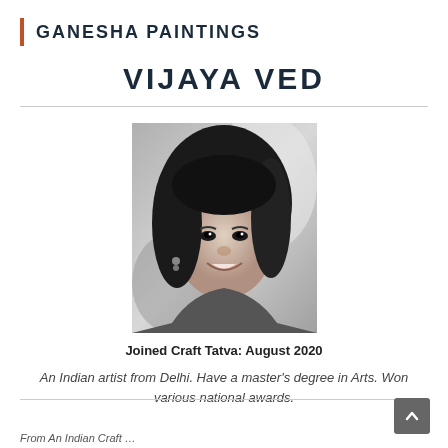GANESHA PAINTINGS
VIJAYA VED
[Figure (photo): Black and white portrait photo of artist Vijaya Ved, a smiling woman with long dark hair]
Joined Craft Tatva: August 2020
An Indian artist from Delhi. Have a master's degree in Arts. Won various national awards.